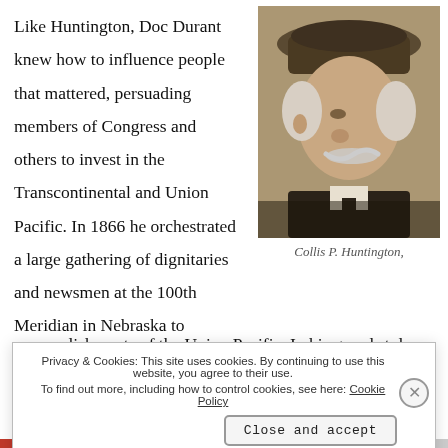Like Huntington, Doc Durant knew how to influence people that mattered, persuading members of Congress and others to invest in the Transcontinental and Union Pacific. In 1866 he orchestrated a large gathering of dignitaries and newsmen at the 100th Meridian in Nebraska to showcase the accomplishments of the Union Pacific. In his grand style, Doc D... g...
[Figure (photo): Sepia-toned portrait photograph of an elderly man with white hair and mustache, wearing a wide-brimmed hat and dark coat, facing right in three-quarter profile]
Collis P. Huntington,
Privacy & Cookies: This site uses cookies. By continuing to use this website, you agree to their use. To find out more, including how to control cookies, see here: Cookie Policy
Close and accept